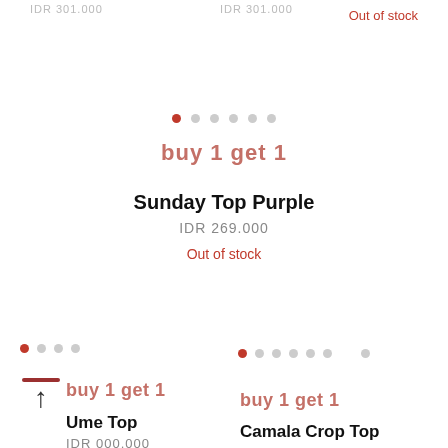IDR 301.000
IDR 301.000
Out of stock
buy 1 get 1
Sunday Top Purple
IDR 269.000
Out of stock
buy 1 get 1
Ume Top
IDR 000.000
buy 1 get 1
Camala Crop Top